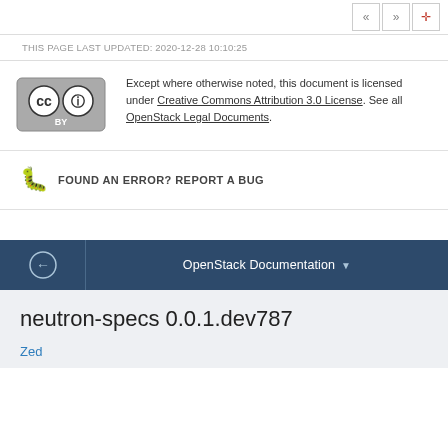THIS PAGE LAST UPDATED: 2020-12-28 10:10:25
Except where otherwise noted, this document is licensed under Creative Commons Attribution 3.0 License. See all OpenStack Legal Documents.
FOUND AN ERROR? REPORT A BUG
OpenStack Documentation
neutron-specs 0.0.1.dev787
Zed